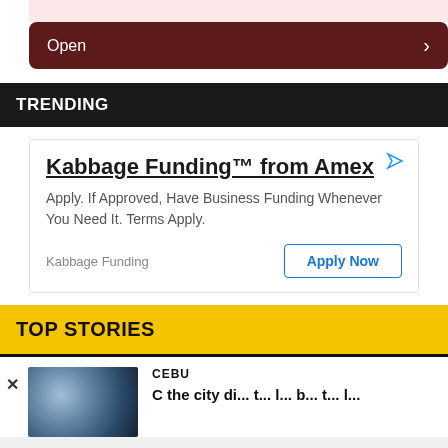[Figure (screenshot): Pink area at top of a mobile app card]
Open  ›
TRENDING
[Figure (screenshot): Advertisement: Kabbage Funding™ from Amex. Apply. If Approved, Have Business Funding Whenever You Need It. Terms Apply. Kabbage Funding | Apply Now]
TOP STORIES
CEBU
[Figure (photo): Blurry blue bokeh photo for a news story]